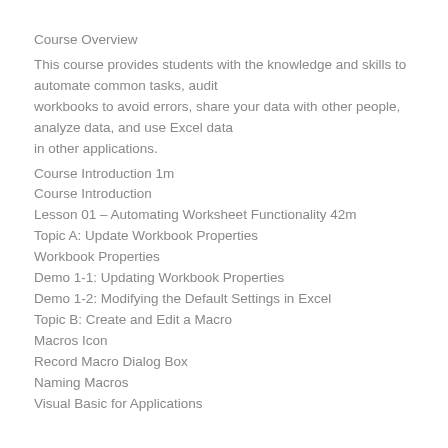Course Overview
This course provides students with the knowledge and skills to automate common tasks, audit workbooks to avoid errors, share your data with other people, analyze data, and use Excel data in other applications.
Course Introduction 1m
Course Introduction
Lesson 01 – Automating Worksheet Functionality 42m
Topic A: Update Workbook Properties
Workbook Properties
Demo 1-1: Updating Workbook Properties
Demo 1-2: Modifying the Default Settings in Excel
Topic B: Create and Edit a Macro
Macros Icon
Record Macro Dialog Box
Naming Macros
Visual Basic for Applications